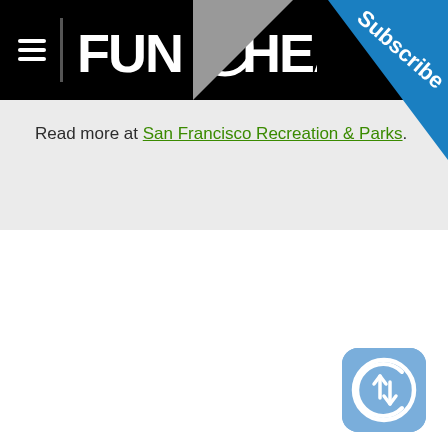FunCheapSF
Read more at San Francisco Recreation & Parks.
[Figure (logo): FunCheapSF website logo with hamburger menu icon on black header bar, with gray diagonal element and blue Subscribe corner ribbon]